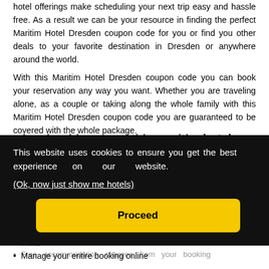hotel offerings make scheduling your next trip easy and hassle free. As a result we can be your resource in finding the perfect Maritim Hotel Dresden coupon code for you or find you other deals to your favorite destination in Dresden or anywhere around the world.
With this Maritim Hotel Dresden coupon code you can book your reservation any way you want. Whether you are traveling alone, as a couple or taking along the whole family with this Maritim Hotel Dresden coupon code you are guaranteed to be covered with the whole package.
why should you use this maritim hotel
This website uses cookies to ensure you get the best experience on our website.
(Ok, now just show me hotels)
Proceed
Manage your entire booking online